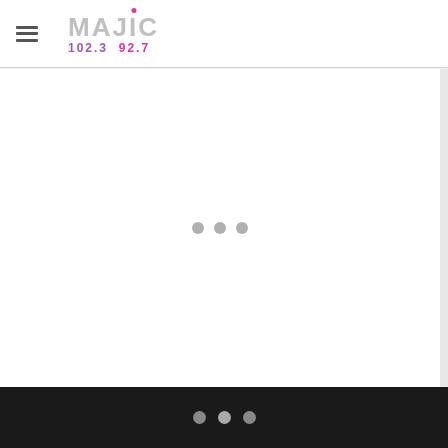Majic 102.3 92.7 — website header with hamburger menu and logo
[Figure (screenshot): Loading spinner with three gray dots centered in a white content area]
Navigation dots at bottom: three circles on dark background